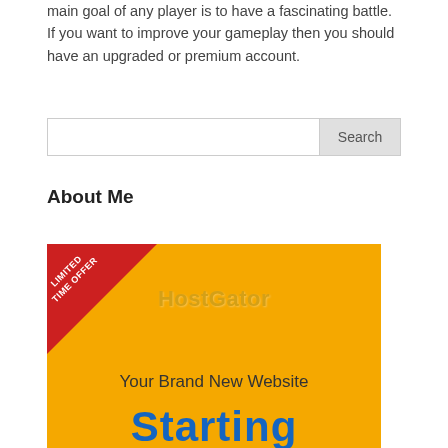main goal of any player is to have a fascinating battle. If you want to improve your gameplay then you should have an upgraded or premium account.
[Figure (other): Search bar with text input field and Search button]
About Me
[Figure (infographic): HostGator advertisement banner with yellow background, red triangle corner badge reading LIMITED TIME OFFER, HostGator logo text, 'Your Brand New Website' and 'Starting' text in blue]